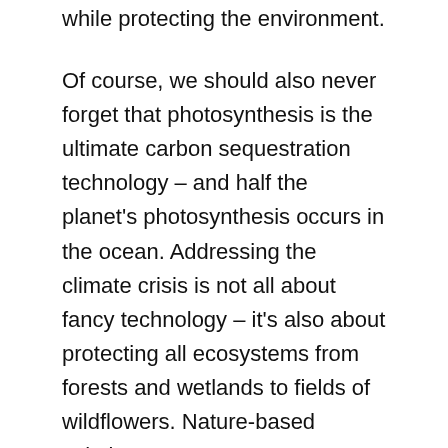while protecting the environment.
Of course, we should also never forget that photosynthesis is the ultimate carbon sequestration technology – and half the planet's photosynthesis occurs in the ocean. Addressing the climate crisis is not all about fancy technology – it's also about protecting all ecosystems from forests and wetlands to fields of wildflowers. Nature-based solutions.
The climate solutions we need to transform every sector are here. The question is: what role will you play in this transformation? You, your community, your business, your government? And how will you help accelerate the transition from a fossil fuel-based economy to a regenerative one?